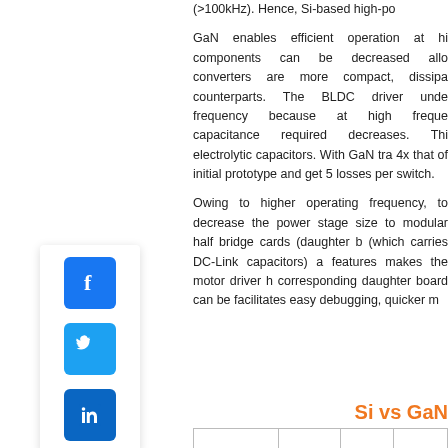(>100kHz). Hence, Si-based high-po
GaN enables efficient operation at hi components can be decreased allo converters are more compact, dissipa counterparts. The BLDC driver unde frequency because at high freque capacitance required decreases. Thi electrolytic capacitors. With GaN tra 4x that of initial prototype and get 5 losses per switch.
Owing to higher operating frequency, to decrease the power stage size to modular half bridge cards (daughter b (which carries DC-Link capacitors) a features makes the motor driver h corresponding daughter board can be facilitates easy debugging, quicker m
[Figure (logo): Social media sharing bar with Facebook, Twitter, and LinkedIn icons]
Si vs GaN
|  |